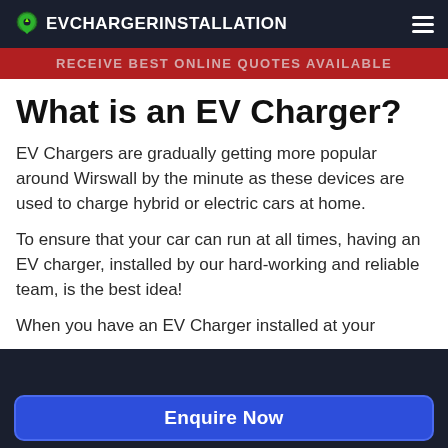EVCHARGERINSTALLATION
RECEIVE BEST ONLINE QUOTES AVAILABLE
What is an EV Charger?
EV Chargers are gradually getting more popular around Wirswall by the minute as these devices are used to charge hybrid or electric cars at home.
To ensure that your car can run at all times, having an EV charger, installed by our hard-working and reliable team, is the best idea!
When you have an EV Charger installed at your
Enquire Now